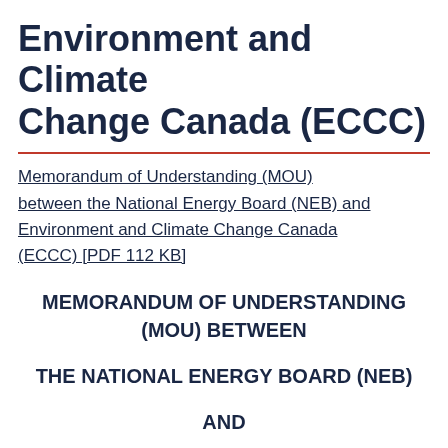Environment and Climate Change Canada (ECCC)
Memorandum of Understanding (MOU) between the National Energy Board (NEB) and Environment and Climate Change Canada (ECCC) [PDF 112 KB]
MEMORANDUM OF UNDERSTANDING (MOU) BETWEEN
THE NATIONAL ENERGY BOARD (NEB)
AND